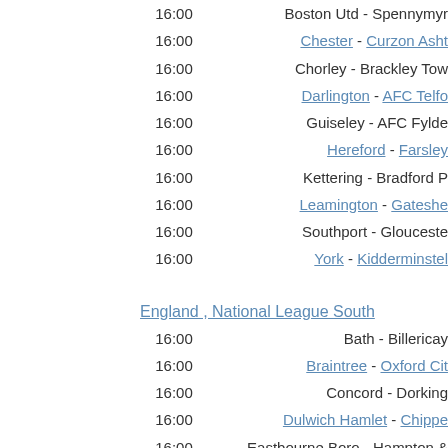16:00  Boston Utd - Spennymoor
16:00  Chester - Curzon Ashton
16:00  Chorley - Brackley Town
16:00  Darlington - AFC Telford
16:00  Guiseley - AFC Fylde
16:00  Hereford - Farsley
16:00  Kettering - Bradford P
16:00  Leamington - Gateshead
16:00  Southport - Gloucester
16:00  York - Kidderminster
England , National League South
16:00  Bath - Billericay
16:00  Braintree - Oxford City
16:00  Concord - Dorking
16:00  Dulwich Hamlet - Chipperfield
16:00  Eastbourne Boro - Hampton &
16:00  Ebbsfleet - Tonbridge
16:00  Havant & W - Wellington
16:00  Maidstone - Hemel Hempstead
16:00  Slough - Chelmsford